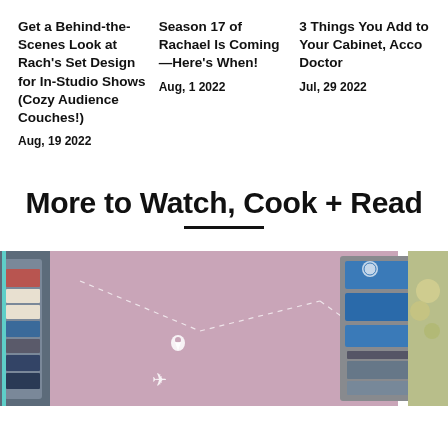Get a Behind-the-Scenes Look at Rach's Set Design for In-Studio Shows (Cozy Audience Couches!)
Aug, 19 2022
Season 17 of Rachael Is Coming—Here's When!
Aug, 1 2022
3 Things You Add to Your Cabinet, Acco Doctor
Jul, 29 2022
More to Watch, Cook + Read
[Figure (photo): Travel organizer bags on a pink background with map/travel motifs including a location pin and airplane icon. Left shows a hanging closet organizer with folded clothes, right shows an open travel toiletry/tech bag with blue zipper pockets.]